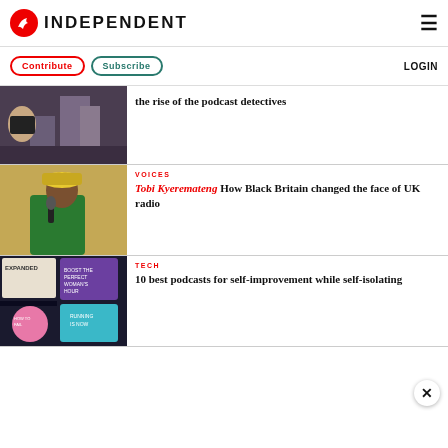INDEPENDENT
Contribute   Subscribe   LOGIN
the rise of the podcast detectives
VOICES
Tobi Kyeremateng  How Black Britain changed the face of UK radio
TECH
10 best podcasts for self-improvement while self-isolating